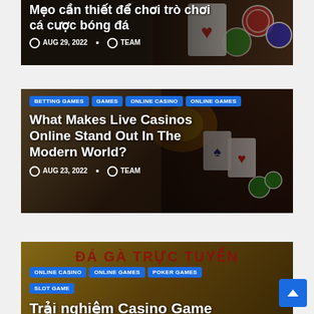[Figure (screenshot): Blog post card (partial, top) with casino/cards background image, Vietnamese title 'Mẹo cần thiết để chơi trò chơi cá cược bóng đá', date AUG 29, 2022, author TEAM]
[Figure (screenshot): Blog post card with casino/slot machine background image, tags: BETTING GAMES, GAMES, ONLINE CASINO, ONLINE GAMES, title 'What Makes Live Casinos Online Stand Out In The Modern World?', date AUG 23, 2022, author TEAM]
[Figure (screenshot): Blog post card (partial, bottom) with golden Vietnamese casino background, tags: ONLINE CASINO, ONLINE GAMES, POKER GAMES, SLOT GAME, partial title 'Trải nghiệm Casino Game']